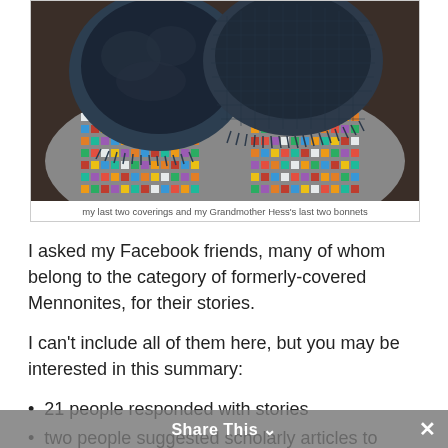[Figure (photo): Photo of dark navy blue fabric head coverings/bonnets displayed on a colorful patterned woven fabric background]
my last two coverings and my Grandmother Hess's last two bonnets
I asked my Facebook friends, many of whom belong to the category of formerly-covered Mennonites, for their stories.
I can't include all of them here, but you may be interested in this summary:
21 people responded with stories
two people suggested scholarly articles to consult